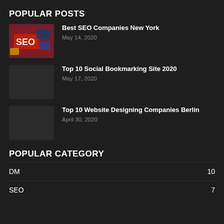POPULAR POSTS
Best SEO Companies New York
May 14, 2020
Top 10 Social Bookmarking Site 2020
May 17, 2020
Top 10 Website Designing Companies Berlin
April 30, 2020
POPULAR CATEGORY
DM    10
SEO    7